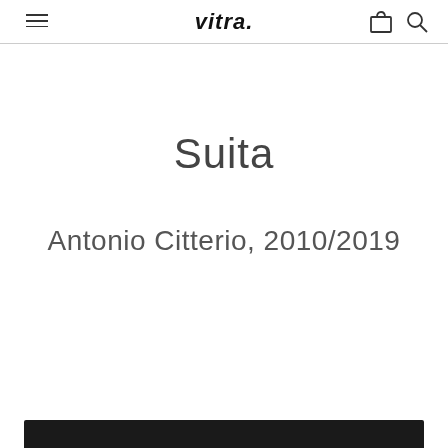vitra.
Suita
Antonio Citterio, 2010/2019